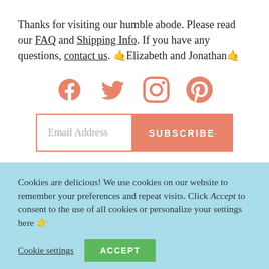Thanks for visiting our humble abode. Please read our FAQ and Shipping Info. If you have any questions, contact us. 🤙Elizabeth and Jonathan🤙
[Figure (infographic): Social media icons: Facebook, Twitter, Instagram, Pinterest in salmon/coral color]
Email Address | SUBSCRIBE button
Cookies are delicious! We use cookies on our website to remember your preferences and repeat visits. Click Accept to consent to the use of all cookies or personalize your settings here 👉
Cookie settings | ACCEPT button
ALL PRICES INCL. VAT.